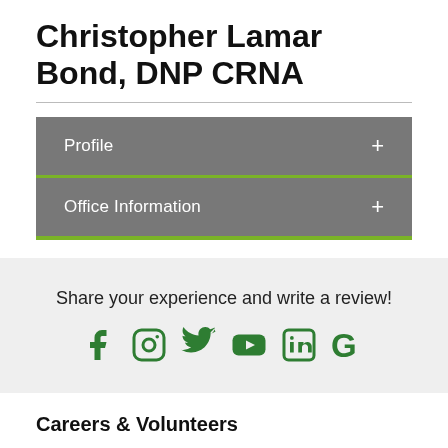Christopher Lamar Bond, DNP CRNA
Profile
Office Information
Share your experience and write a review!
[Figure (infographic): Social media icons: Facebook, Instagram, Twitter, YouTube, LinkedIn, Google]
Careers & Volunteers
Volunteers